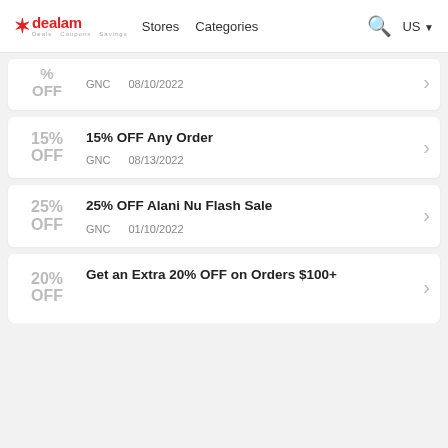dealam — Stores   Categories   US
OFF   GNC   08/10/2022
15% OFF   15% OFF Any Order   GNC   08/13/2022
25% OFF   25% OFF Alani Nu Flash Sale   GNC   01/10/2022
20% OFF   Get an Extra 20% OFF on Orders $100+